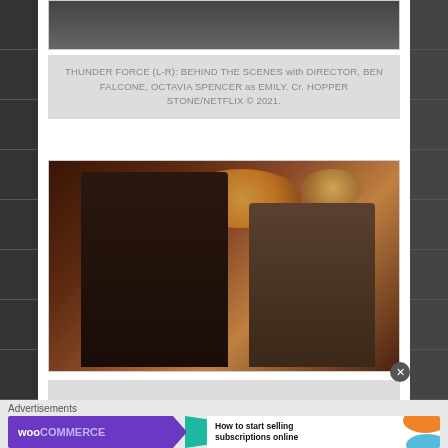[Figure (photo): Top portion of a movie/TV scene image, partially visible at top of page]
THUNDER FORCE (L-R): BEHIND THE SCENES with DIRECTOR, BEN FALCONE, OCTAVIA SPENCER as EMILY. Cr. HOPPER STONE/NETFLIX © 2021.
[Figure (photo): Two men in suits standing in a dimly lit room — scene from a movie or TV show]
Advertisements
[Figure (other): WooCommerce advertisement banner: How to start selling subscriptions online]